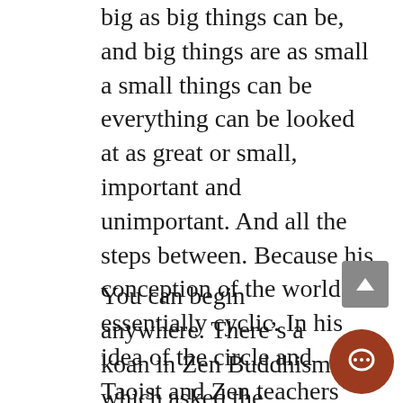big as big things can be, and big things are as small a small things can be everything can be looked at as great or small, important and unimportant. And all the steps between. Because his conception of the world is essentially cyclic. In his idea of the circle and Taoist and Zen teachers have a whole method of teaching by circles and drawing circles. The center of a circle, is any point on the circumference.
You can begin anywhere. There’s a koan in Zen Buddhism which asked the question. Indra built the seamless tower. Where did he start? Now, a seamless tower is like a sleeve with no seam on it. It’s a continuous cylinder of cloth. So the continuous cylindrical tower, is